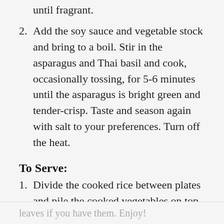until fragrant.
2. Add the soy sauce and vegetable stock and bring to a boil. Stir in the asparagus and Thai basil and cook, occasionally tossing, for 5-6 minutes until the asparagus is bright green and tender-crisp. Taste and season again with salt to your preferences. Turn off the heat.
To Serve:
1. Divide the cooked rice between plates and pile the cooked vegetables on top. Garnish with a few Thai basil leaves if you have them. Enjoy!